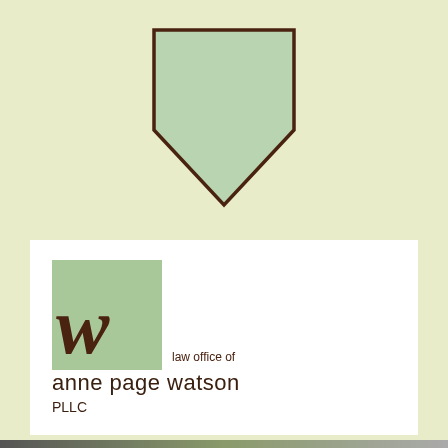[Figure (logo): Shield/home plate shape in sage green with dark brown outline, centered at top of page]
[Figure (logo): Law Office of Anne Page Watson PLLC logo: green square with cursive W overlapping, firm name in brown text]
[Figure (infographic): Social media icons: Facebook f, Twitter bird, LinkedIn in — rendered in light sage green on khaki background]